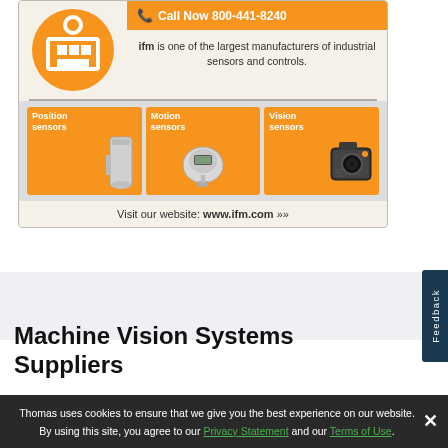[Figure (infographic): IFM industrial sensors advertisement showing logo, Call Now 800-441-8246 banner, description text, three product category tiles (Position sensors, Motion sensors, Vision sensors) with product images, and website URL www.ifm.com]
ifm is one of the largest manufacturers of industrial sensors and controls.
Visit our website: www.ifm.com »
Machine Vision Systems Suppliers
Thomas uses cookies to ensure that we give you the best experience on our website. By using this site, you agree to our Privacy Statement and our Terms of Use.